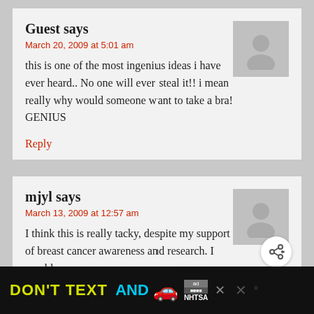Guest says
March 20, 2009 at 5:01 am
this is one of the most ingenius ideas i have ever heard.. No one will ever steal it!! i mean really why would someone want to take a bra! GENIUS
Reply
mjyl says
March 13, 2009 at 12:57 am
I think this is really tacky, despite my support of breast cancer awareness and research. I would never ca one.
Reply
[Figure (infographic): Ad bar: DON'T TEXT AND with red car emoji, ad badge, NHTSA logo]
m